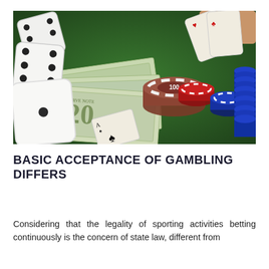[Figure (photo): Photo of a gambling scene on a green felt table: white dice tumbling, scattered $20 US dollar bills, a stack of poker chips (red, brown, blue) with a brown chip labeled '100' in the center, playing cards including an ace of spades, and a hand holding cards in the background.]
BASIC ACCEPTANCE OF GAMBLING DIFFERS
Considering that the legality of sporting activities betting continuously is the concern of state law, different from...